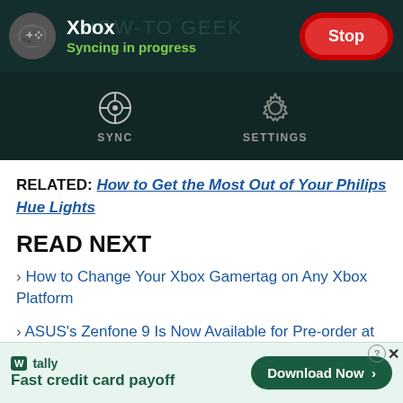[Figure (screenshot): Xbox app screenshot showing 'Syncing in progress' status with a red Stop button in the top-right corner. Below the header is a navigation bar with SYNC and SETTINGS icons.]
RELATED: How to Get the Most Out of Your Philips Hue Lights
READ NEXT
› How to Change Your Xbox Gamertag on Any Xbox Platform
› ASUS's Zenfone 9 Is Now Available for Pre-order at Amazon
[Figure (screenshot): Tally ad banner: 'Fast credit card payoff' with a Download Now button.]